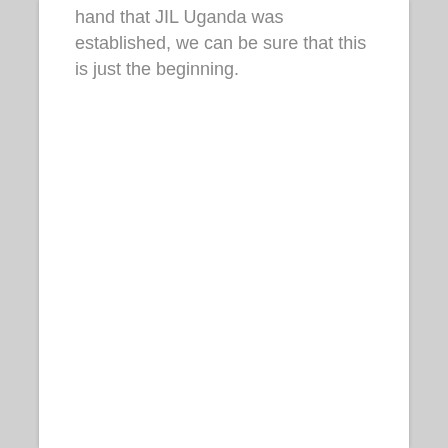hand that JIL Uganda was established, we can be sure that this is just the beginning.